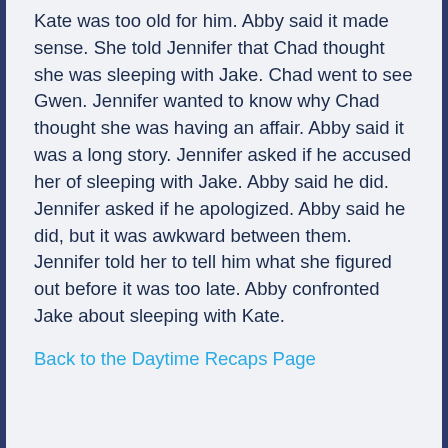Kate was too old for him. Abby said it made sense. She told Jennifer that Chad thought she was sleeping with Jake. Chad went to see Gwen. Jennifer wanted to know why Chad thought she was having an affair. Abby said it was a long story. Jennifer asked if he accused her of sleeping with Jake. Abby said he did. Jennifer asked if he apologized. Abby said he did, but it was awkward between them. Jennifer told her to tell him what she figured out before it was too late. Abby confronted Jake about sleeping with Kate.
Back to the Daytime Recaps Page